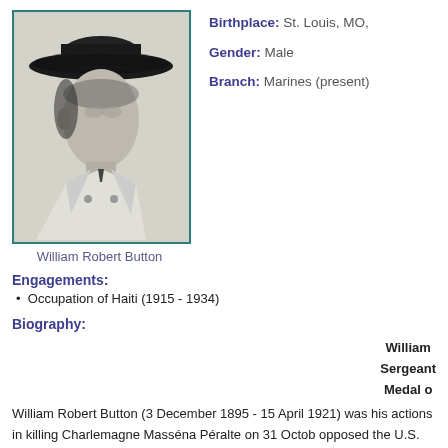[Figure (photo): Black and white portrait photograph of William Robert Button wearing a wide-brimmed military hat and uniform, facing slightly to the side.]
William Robert Button
Birthplace: St. Louis, MO,
Gender: Male
Branch: Marines (present)
Engagements:
Occupation of Haiti (1915 - 1934)
Biography:
William
Sergeant
Medal o
William Robert Button (3 December 1895 - 15 April 1921) was his actions in killing Charlemagne Masséna Péralte on 31 Octo opposed the U.S. invasion of his country in 1915. Leading guer for years. It hit that the occupation forces had to search it.